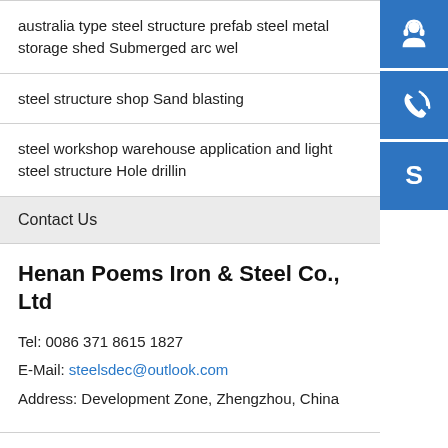australia type steel structure prefab steel metal storage shed Submerged arc wel
steel structure shop Sand blasting
steel workshop warehouse application and light steel structure Hole drillin
Contact Us
Henan Poems Iron & Steel Co., Ltd
Tel: 0086 371 8615 1827
E-Mail: steelsdec@outlook.com
Address: Development Zone, Zhengzhou, China
[Figure (illustration): Blue square icon with white headset/customer service symbol]
[Figure (illustration): Blue square icon with white phone/call symbol]
[Figure (illustration): Blue square icon with white Skype logo symbol]